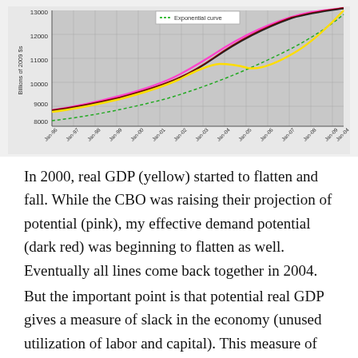[Figure (line-chart): Line chart showing real GDP (yellow), CBO potential GDP (pink), effective demand potential (dark red/black), and an exponential curve (dashed green). Lines rise together, diverge around 2000, then reconverge around 2004.]
In 2000, real GDP (yellow) started to flatten and fall. While the CBO was raising their projection of potential (pink), my effective demand potential (dark red) was beginning to flatten as well. Eventually all lines come back together in 2004.
But the important point is that potential real GDP gives a measure of slack in the economy (unused utilization of labor and capital). This measure of